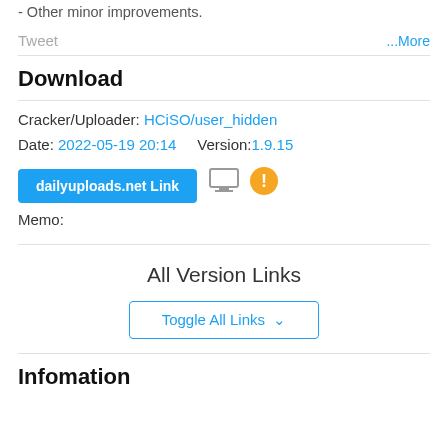- Other minor improvements.
Tweet   ...More
Download
Cracker/Uploader: HCiSO/user_hidden
Date: 2022-05-19 20:14    Version:1.9.15
dailyuploads.net Link [button] [monitor icon] [warning icon]
Memo:
All Version Links
Toggle All Links ˅
Infomation